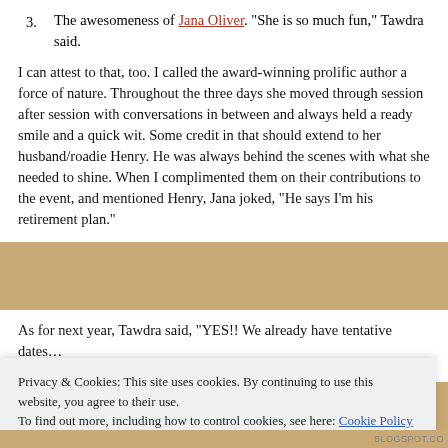3. The awesomeness of Jana Oliver. "She is so much fun," Tawdra said.
I can attest to that, too. I called the award-winning prolific author a force of nature. Throughout the three days she moved through session after session with conversations in between and always held a ready smile and a quick wit. Some credit in that should extend to her husband/roadie Henry. He was always behind the scenes with what she needed to shine. When I complimented them on their contributions to the event, and mentioned Henry, Jana joked, “He says I’m his retirement plan.”
As for next year, Tawdra said, “YES!! We already have tentative dates…
Privacy & Cookies: This site uses cookies. By continuing to use this website, you agree to their use.
To find out more, including how to control cookies, see here: Cookie Policy
Close and accept
BLOGSPOT.CO